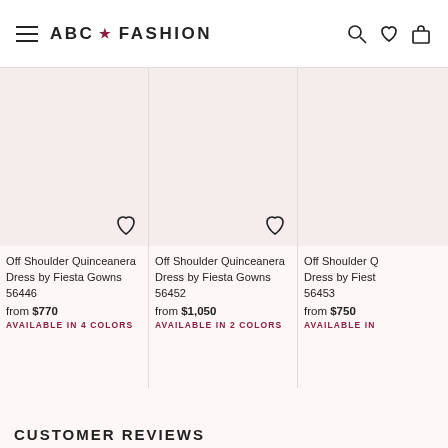ABC ★ FASHION
[Figure (photo): Product image placeholder for Off Shoulder Quinceanera Dress by Fiesta Gowns 56446 - pink/light background]
Off Shoulder Quinceanera Dress by Fiesta Gowns 56446
from $770
AVAILABLE IN 4 COLORS
[Figure (photo): Product image placeholder for Off Shoulder Quinceanera Dress by Fiesta Gowns 56452 - pink/light background]
Off Shoulder Quinceanera Dress by Fiesta Gowns 56452
from $1,050
AVAILABLE IN 2 COLORS
[Figure (photo): Product image placeholder for Off Shoulder Quinceanera Dress by Fiesta Gowns 56453 - pink/light background (partially visible)]
Off Shoulder Quinceanera Dress by Fiesta Gowns 56453
from $750
AVAILABLE IN
CUSTOMER REVIEWS